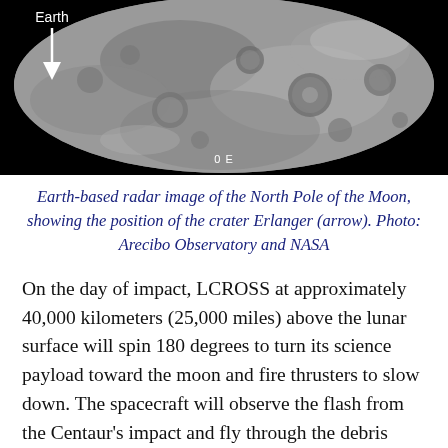[Figure (photo): Earth-based radar image of the North Pole of the Moon in grayscale, showing cratered lunar surface. A white arrow labeled 'Earth' points downward from the upper-left area. The text '0 E' appears near the bottom center of the image. Black background surrounds the circular moon surface.]
Earth-based radar image of the North Pole of the Moon, showing the position of the crater Erlanger (arrow). Photo: Arecibo Observatory and NASA
On the day of impact, LCROSS at approximately 40,000 kilometers (25,000 miles) above the lunar surface will spin 180 degrees to turn its science payload toward the moon and fire thrusters to slow down. The spacecraft will observe the flash from the Centaur's impact and fly through the debris plume. Data will be collected and streamed to LCROSS mission